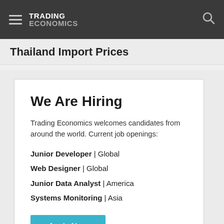TRADING ECONOMICS
Thailand Import Prices
We Are Hiring
Trading Economics welcomes candidates from around the world. Current job openings:
Junior Developer | Global
Web Designer | Global
Junior Data Analyst | America
Systems Monitoring | Asia
Apply Now